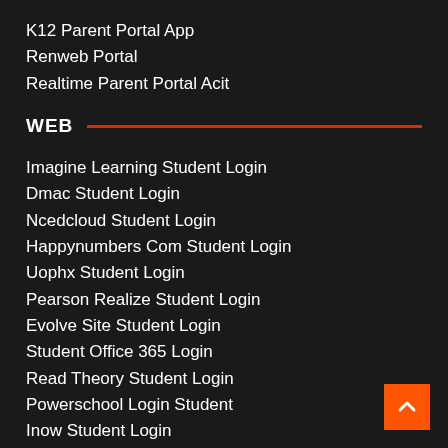K12 Parent Portal App
Renweb Portal
Realtime Parent Portal Acit
WEB
Imagine Learning Student Login
Dmac Student Login
Ncedcloud Student Login
Happynumbers Com Student Login
Uophx Student Login
Pearson Realize Student Login
Evolve Site Student Login
Student Office 365 Login
Read Theory Student Login
Powerschool Login Student
Inow Student Login
Splash Math Student Login